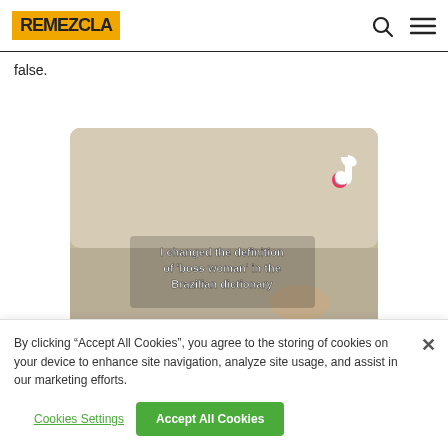REMEZCLA
false.
[Figure (screenshot): TikTok embedded video screenshot showing a beige/tan room background with TikTok logo in upper right corner. Text overlay reads: I changed the definition of 'boss woman' in the Brazilian dictionary]
By clicking “Accept All Cookies”, you agree to the storing of cookies on your device to enhance site navigation, analyze site usage, and assist in our marketing efforts.
Cookies Settings
Accept All Cookies